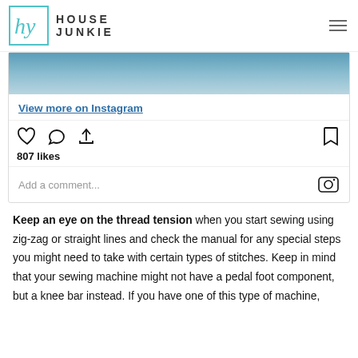HOUSE JUNKIE
[Figure (screenshot): Instagram embed showing a partial image (blue/teal gradient), View more on Instagram link, action icons (heart, comment, share, bookmark), 807 likes count, and Add a comment input with Instagram icon]
Keep an eye on the thread tension when you start sewing using zig-zag or straight lines and check the manual for any special steps you might need to take with certain types of stitches. Keep in mind that your sewing machine might not have a pedal foot component, but a knee bar instead. If you have one of this type of machine,